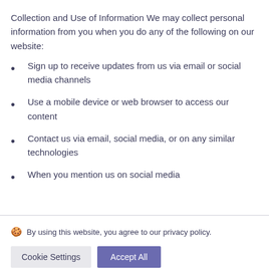Collection and Use of Information We may collect personal information from you when you do any of the following on our website:
Sign up to receive updates from us via email or social media channels
Use a mobile device or web browser to access our content
Contact us via email, social media, or on any similar technologies
When you mention us on social media
🍪 By using this website, you agree to our privacy policy.